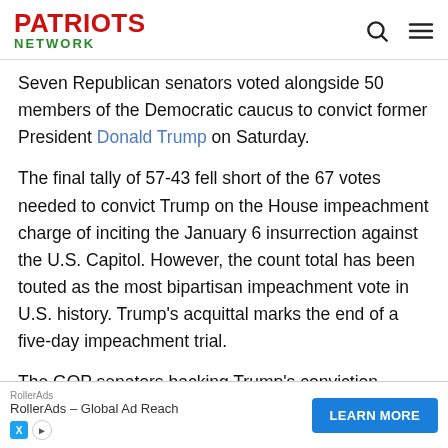PATRIOTS NETWORK
Seven Republican senators voted alongside 50 members of the Democratic caucus to convict former President Donald Trump on Saturday.
The final tally of 57-43 fell short of the 67 votes needed to convict Trump on the House impeachment charge of inciting the January 6 insurrection against the U.S. Capitol. However, the count total has been touted as the most bipartisan impeachment vote in U.S. history. Trump's acquittal marks the end of a five-day impeachment trial.
The GOP senators backing Trump's conviction include Susan Collins of Maine, Bill Cassidy of Louisiana, Pat
RollerAds - Global Ad Reach LEARN MORE